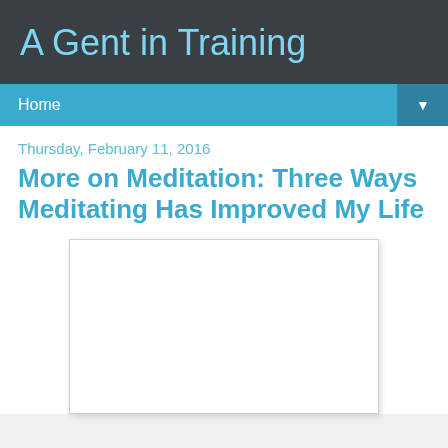A Gent in Training
Home
Thursday, February 11, 2016
More on Meditation: Three Ways Meditating Has Improved My Life
[Figure (photo): White image placeholder box with light border and shadow]